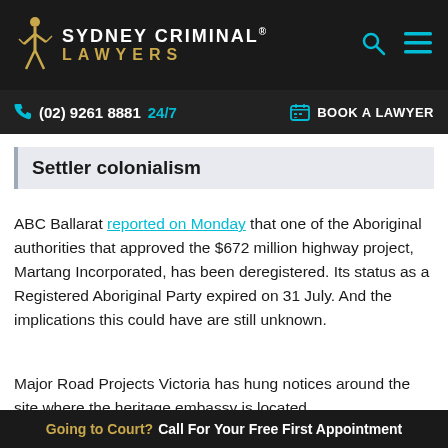[Figure (logo): Sydney Criminal Lawyers logo with golden figure and text]
(02) 9261 8881 24/7   BOOK A LAWYER
Settler colonialism
ABC Ballarat reported on Monday that one of the Aboriginal authorities that approved the $672 million highway project, Martang Incorporated, has been deregistered. Its status as a Registered Aboriginal Party expired on 31 July. And the implications this could have are still unknown.
Major Road Projects Victoria has hung notices around the site where the heritage embassy is located,
Going to Court? Call For Your Free First Appointment